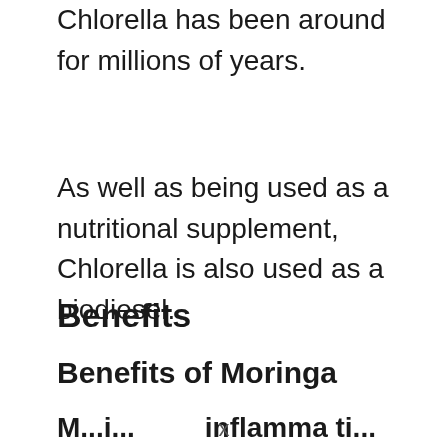Chlorella has been around for millions of years.
As well as being used as a nutritional supplement, Chlorella is also used as a biodiesel.
Benefits
Benefits of Moringa
M...i...inflammation...
x